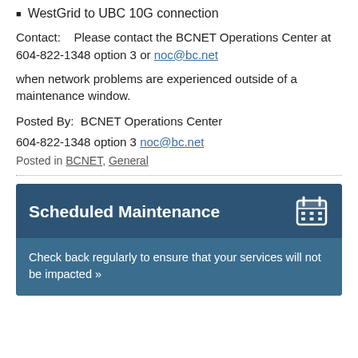WestGrid to UBC 10G connection
Contact:    Please contact the BCNET Operations Center at 604-822-1348 option 3 or noc@bc.net
when network problems are experienced outside of a maintenance window.
Posted By:  BCNET Operations Center
604-822-1348 option 3 noc@bc.net
Posted in BCNET, General
Scheduled Maintenance
Check back regularly to ensure that your services will not be impacted »